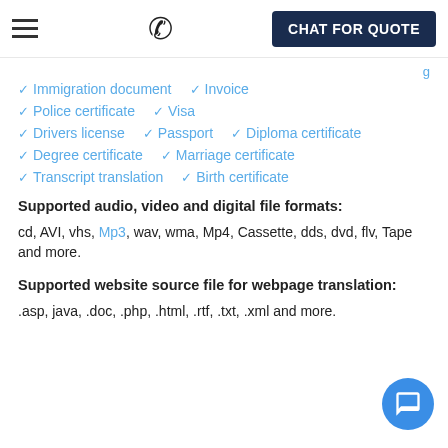CHAT FOR QUOTE
✓ Immigration document   ✓ Invoice
✓ Police certificate   ✓ Visa
✓ Drivers license   ✓ Passport   ✓ Diploma certificate
✓ Degree certificate   ✓ Marriage certificate
✓ Transcript translation   ✓ Birth certificate
Supported audio, video and digital file formats:
cd, AVI, vhs, Mp3, wav, wma, Mp4, Cassette, dds, dvd, flv, Tape and more.
Supported website source file for webpage translation:
.asp, java, .doc, .php, .html, .rtf, .txt, .xml and more.